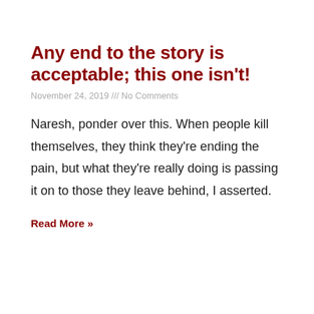Any end to the story is acceptable; this one isn't!
November 24, 2019 /// No Comments
Naresh, ponder over this. When people kill themselves, they think they're ending the pain, but what they're really doing is passing it on to those they leave behind, I asserted.
Read More »